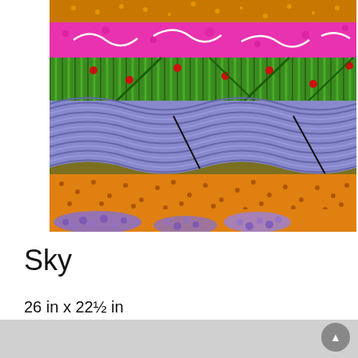[Figure (illustration): Colorful mixed media artwork titled 'Sky' showing layered landscape with vibrant pink and magenta sky at top, green cacti with red dots, purple/blue wavy striped bands in the middle, orange dotted area at bottom, and small purple dots at the very bottom. White curling lines suggest clouds in the sky.]
Sky
26 in x 22½ in
Mixed Media Monotype; watercolor, crayon, watercolor pencil, and collage on Rives BFK